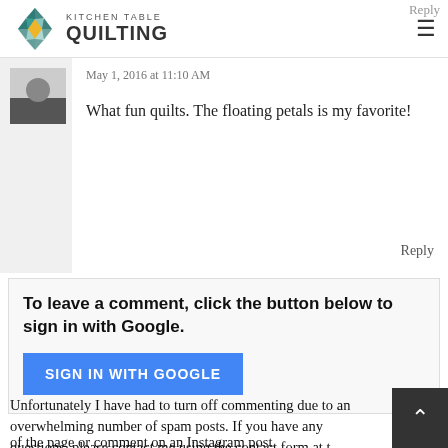KITCHEN TABLE QUILTING
May 1, 2016 at 11:10 AM
What fun quilts. The floating petals is my favorite!
Reply
To leave a comment, click the button below to sign in with Google.
SIGN IN WITH GOOGLE
Unfortunately I have had to turn off commenting due to an overwhelming number of spam posts. If you have any questions, please contact me using the contact form at the top of the page or comment on an Instagram post.
Note: Only a member of this blog may post a comment.